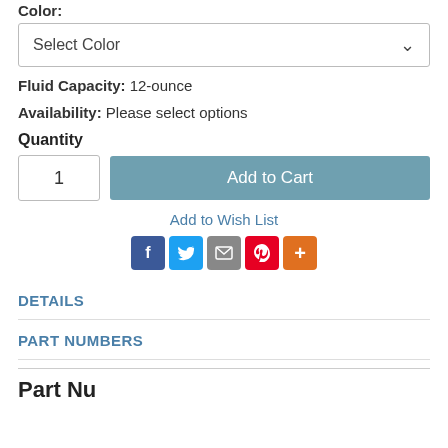Color:
Select Color
Fluid Capacity: 12-ounce
Availability: Please select options
Quantity
1
Add to Cart
Add to Wish List
[Figure (infographic): Social sharing icons: Facebook (blue), Twitter (light blue), Email (gray), Pinterest (red), More (orange)]
DETAILS
PART NUMBERS
Part Nu...